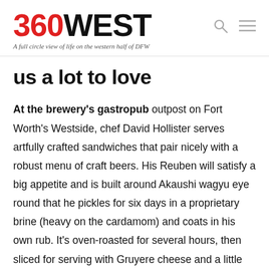360WEST — A full circle view of life on the western half of DFW
us a lot to love
At the brewery's gastropub outpost on Fort Worth's Westside, chef David Hollister serves artfully crafted sandwiches that pair nicely with a robust menu of craft beers. His Reuben will satisfy a big appetite and is built around Akaushi wagyu eye round that he pickles for six days in a proprietary brine (heavy on the cardamom) and coats in his own rub. It's oven-roasted for several hours, then sliced for serving with Gruyere cheese and a little pile of coarsely cut sauerkraut that Hollister ferments in-house with caraway seed and sea salt. Sambal-infused Thousand